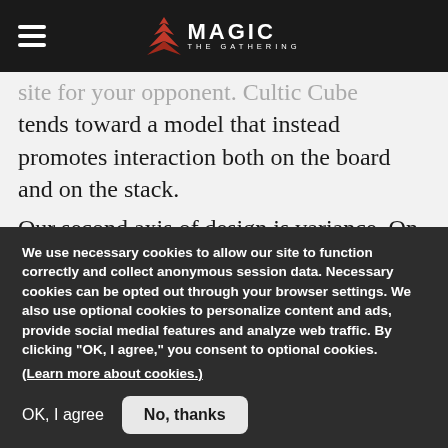Magic: The Gathering
site for your opponent. Cultic Cube tends toward a model that instead promotes interaction both on the board and on the stack.
Our second axis of design is variance. On the one hand, Cultic Cube is, like most cubes, a Singleton format that permits only one copy of each card. (However, I break with convention by including two copies of each fetch land, because
We use necessary cookies to allow our site to function correctly and collect anonymous session data. Necessary cookies can be opted out through your browser settings. We also use optional cookies to personalize content and ads, provide social medial features and analyze web traffic. By clicking “OK, I agree,” you consent to optional cookies. (Learn more about cookies.)